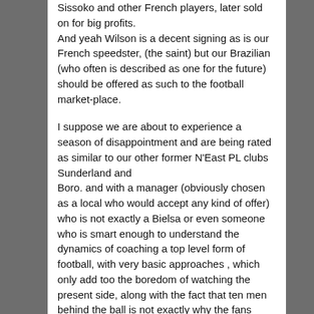Sissoko and other French players, later sold on for big profits. And yeah Wilson is a decent signing as is our French speedster, (the saint) but our Brazilian (who often is described as one for the future) should be offered as such to the football market-place.

I suppose we are about to experience a season of disappointment and are being rated as similar to our other former N'East PL clubs Sunderland and Boro. and with a manager (obviously chosen as a local who would accept any kind of offer) who is not exactly a Bielsa or even someone who is smart enough to understand the dynamics of coaching a top level form of football, with very basic approaches , which only add too the boredom of watching the present side, along with the fact that ten men behind the ball is not exactly why the fans show up, cause along with being beaten they get the pleasure of being bored out of their skulls .